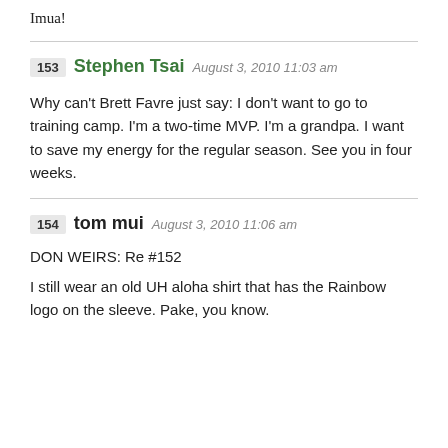Imua!
153 Stephen Tsai August 3, 2010 11:03 am
Why can't Brett Favre just say: I don't want to go to training camp. I'm a two-time MVP. I'm a grandpa. I want to save my energy for the regular season. See you in four weeks.
154 tom mui August 3, 2010 11:06 am
DON WEIRS: Re #152
I still wear an old UH aloha shirt that has the Rainbow logo on the sleeve. Pake, you know.